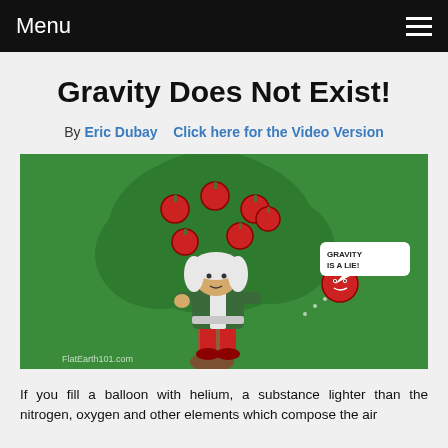Menu
Gravity Does Not Exist!
By Eric Dubay    Click here for the Video Version
[Figure (illustration): Cartoon illustration on green background showing a cartoon Newton-like figure in a green coat and white wig sitting under an apple tree. Red apples hang in the tree and a flying apple with a speech bubble reads 'GRAVITY IS A LIE!' Watermark text reads FlatEarth101.com]
If you fill a balloon with helium, a substance lighter than the nitrogen, oxygen and other elements which compose the air